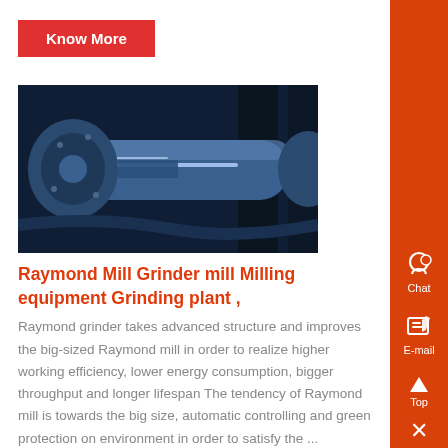Know More
[Figure (photo): Close-up photo of a Raymond Mill grinder component, showing metallic blue grinding roller/shaft against a dark industrial background.]
Raymond Mill Grinder mill Milling equipment Grinding plant ,
Raymond grinder takes advanced structure and improves the big-sized Raymond mill in order to realize higher working efficiency, lower energy consumption, bigger throughput and longer lifespan The tendency of Raymond mill is towards the big size, automatic controlling and green protection on environment in order to satisfy the ...